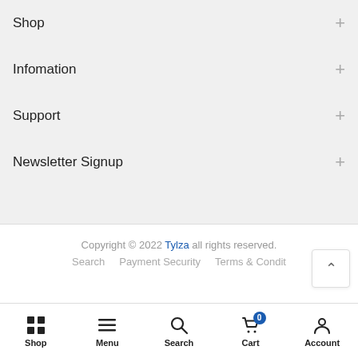Shop +
Infomation +
Support +
Newsletter Signup +
Copyright © 2022 Tylza all rights reserved.
Search   Payment Security   Terms & Condit
Shop  Menu  Search  Cart 0  Account